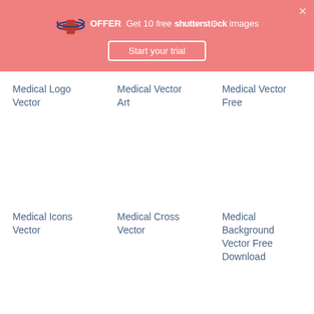[Figure (screenshot): Shutterstock promotional banner with pink background, logo, offer text 'Get 10 free shutterstock images', and 'Start your trial' button]
Medical Logo Vector
Medical Vector Art
Medical Vector Free
Medical Icons Vector
Medical Cross Vector
Medical Background Vector Free Download